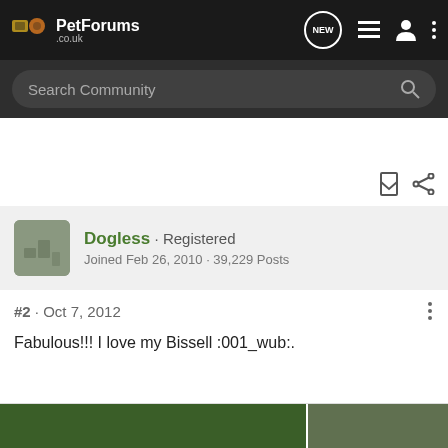PetForums .co.uk
Search Community
Dogless · Registered
Joined Feb 26, 2010 · 39,229 Posts
#2 · Oct 7, 2012
Fabulous!!! I love my Bissell :001_wub:.
[Figure (photo): Thumbnail images at the bottom of the page, partially visible green/garden scene]